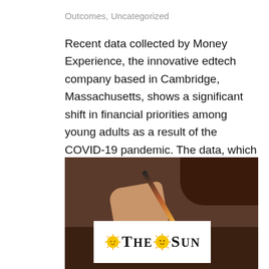Outcomes, Uncategorized
Recent data collected by Money Experience, the innovative edtech company based in Cambridge, Massachusetts, shows a significant shift in financial priorities among young adults as a result of the COVID-19 pandemic. The data, which was collected during Financial…
[Figure (photo): A person writing with a pencil on paper, with a newspaper overlay showing 'The Sun' logo (stylized text with a sun emblem between 'THE' and 'SUN').]